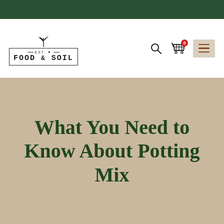[Figure (logo): Food & Soil brand logo with plant icon above a framed text reading EST. FOOD & SOIL with decorative lines]
[Figure (other): Navigation icons: search magnifying glass, shopping cart with 0 badge, and hamburger menu on tan background]
What You Need to Know About Potting Mix